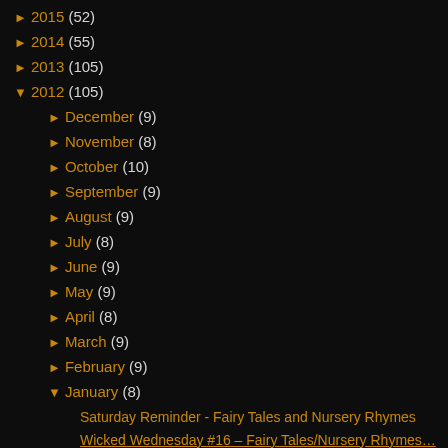► 2015 (52)
► 2014 (55)
► 2013 (105)
▼ 2012 (105)
► December (9)
► November (8)
► October (10)
► September (9)
► August (9)
► July (8)
► June (9)
► May (9)
► April (8)
► March (9)
► February (9)
▼ January (8)
Saturday Reminder - Fairy Tales and Nursery Rhymes
Wicked Wednesday #16 – Fairy Tales/Nursery Rhymes…